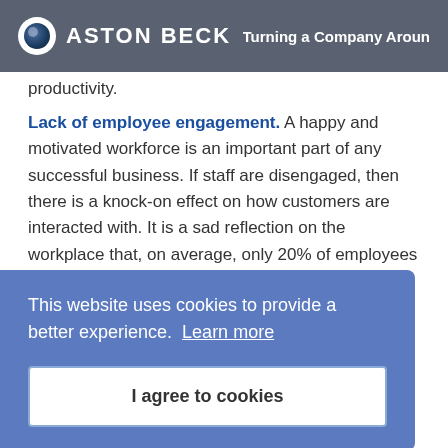Aston Beck — Turning a Company Around
productivity.
Lack of employee engagement. A happy and motivated workforce is an important part of any successful business. If staff are disengaged, then there is a knock-on effect on how customers are interacted with. It is a sad reflection on the workplace that, on average, only 20% of employees are on-message and ... e to ...
[Figure (screenshot): Cookie consent overlay banner with text 'This website uses cookies to provide a better experience. Learn more' and a button 'I agree to cookies']
erate at scale and distance. Unintuitive tools, poor